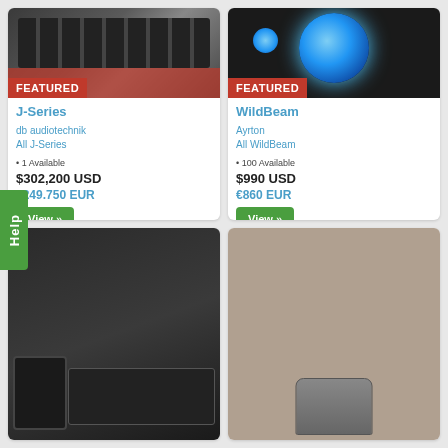[Figure (photo): J-Series audio equipment in road cases, stacked black speaker enclosures with red trim, warehouse setting]
FEATURED
J-Series
db audiotechnik
All J-Series
1 Available
$302,200 USD
€249.750 EUR
View »
[Figure (photo): WildBeam moving head lighting fixture showing blue LED lenses against black background]
FEATURED
WildBeam
Ayrton
All WildBeam
100 Available
$990 USD
€860 EUR
View »
[Figure (photo): Audio equipment in black road cases, speaker enclosures visible]
[Figure (photo): Brown/tan speaker enclosure or audio equipment]